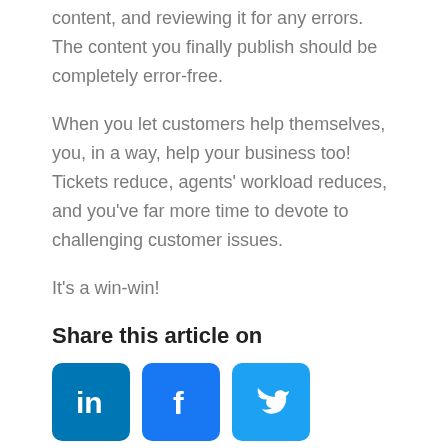content, and reviewing it for any errors. The content you finally publish should be completely error-free.
When you let customers help themselves, you, in a way, help your business too! Tickets reduce, agents’ workload reduces, and you’ve far more time to devote to challenging customer issues.
It’s a win-win!
Share this article on
[Figure (infographic): Three social media share icons: LinkedIn (blue square with 'in'), Facebook (blue square with 'f'), Twitter (teal square with bird logo)]
Do you want a free Knowledge Base?
We have the #1 Online Knowledge Base Software for